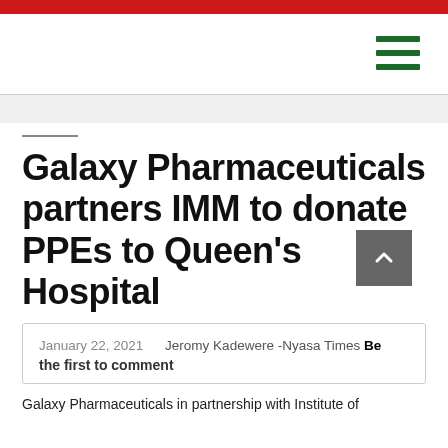Galaxy Pharmaceuticals partners IMM to donate PPEs to Queen’s Hospital
January 22, 2021   Jeromy Kadewere -Nyasa Times Be the first to comment
Galaxy Pharmaceuticals in partnership with Institute of